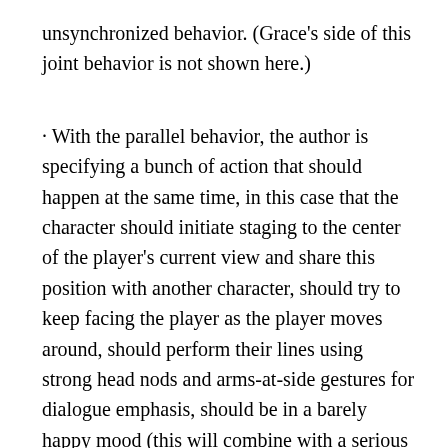unsynchronized behavior. (Grace's side of this joint behavior is not shown here.)
· With the parallel behavior, the author is specifying a bunch of action that should happen at the same time, in this case that the character should initiate staging to the center of the player's current view and share this position with another character, should try to keep facing the player as the player moves around, should perform their lines using strong head nods and arms-at-side gestures for dialogue emphasis, should be in a barely happy mood (this will combine with a serious base facial expression), and that they should perform a certain sequence of lines that start